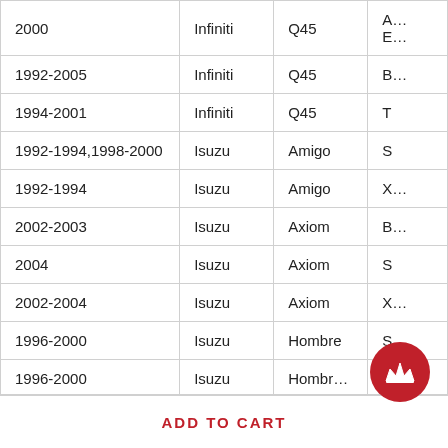| Year | Make | Model | Trim |
| --- | --- | --- | --- |
| 2000 | Infiniti | Q45 | A… E… |
| 1992-2005 | Infiniti | Q45 | B… |
| 1994-2001 | Infiniti | Q45 | T |
| 1992-1994,1998-2000 | Isuzu | Amigo | S |
| 1992-1994 | Isuzu | Amigo | X… |
| 2002-2003 | Isuzu | Axiom | B… |
| 2004 | Isuzu | Axiom | S |
| 2002-2004 | Isuzu | Axiom | X… |
| 1996-2000 | Isuzu | Hombre | S |
| 1996-2000 | Isuzu | Hombr… |  |